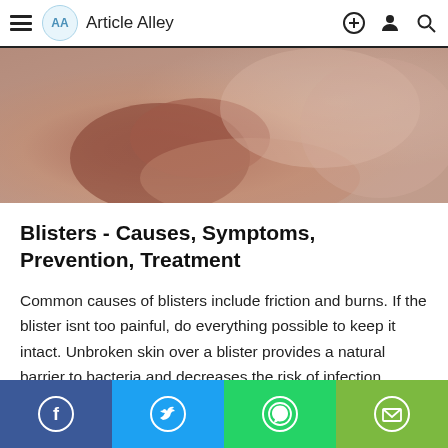Article Alley
[Figure (photo): Close-up photo of human skin/fingers, showing a blister area, with pinkish-brown tones]
Blisters - Causes, Symptoms, Prevention, Treatment
Common causes of blisters include friction and burns. If the blister isnt too painful, do everything possible to keep it intact. Unbroken skin over a blister provides a natural barrier to bacteria and decreases the risk of infection. Cover small blisters with an adhesive bandage, and
Facebook | Twitter | WhatsApp | Email